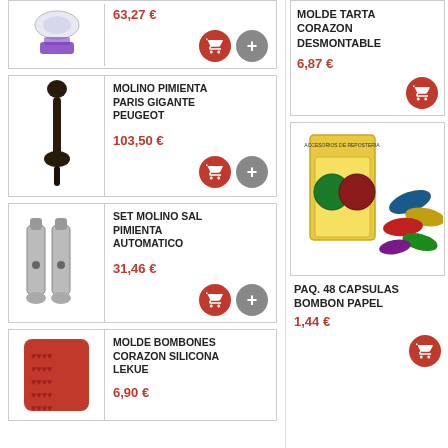63,27 €
[Figure (photo): Purple acrylic magnifying lens stand product photo]
MOLINO PIMIENTA PARIS GIGANTE PEUGEOT
103,50 €
[Figure (photo): Tall black Peugeot pepper mill product photo]
SET MOLINO SAL PIMIENTA AUTOMATICO
31,46 €
[Figure (photo): Two stainless steel automatic salt and pepper mills product photo]
MOLDE BOMBONES CORAZON SILICONA LEKUE
6,90 €
[Figure (photo): Red silicone heart-shaped chocolate mold product photo]
MOLDE TARTA CORAZON DESMONTABLE
6,87 €
PAQ. 48 CAPSULAS BOMBON PAPEL
1,44 €
[Figure (photo): Package of 48 paper chocolate capsules in various colors product photo]